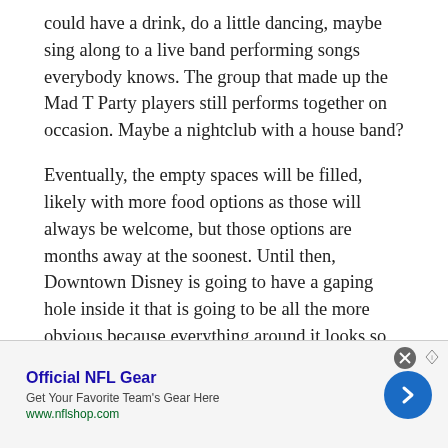could have a drink, do a little dancing, maybe sing along to a live band performing songs everybody knows. The group that made up the Mad T Party players still performs together on occasion. Maybe a nightclub with a house band?
Eventually, the empty spaces will be filled, likely with more food options as those will always be welcome, but those options are months away at the soonest. Until then, Downtown Disney is going to have a gaping hole inside it that is going to be all the more obvious because everything around it looks so perfect.
Image Courtesy Disneylandnews.com/Disney
[Figure (other): Advertisement banner for Official NFL Gear with title, description, URL www.nflshop.com, and a blue circular arrow button. Close button (X) in top right corner.]